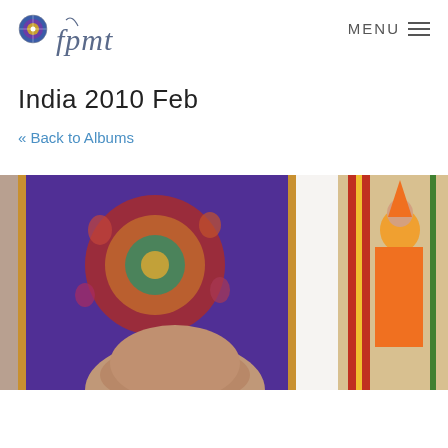fpmt  MENU
India 2010 Feb
« Back to Albums
[Figure (photo): A person seated in front of two colorful Tibetan thangka paintings. The left thangka shows a mandala with multiple Buddhist deities in vivid reds, blues, and golds. The right thangka shows a Tibetan master figure in orange robes against a light background with decorative borders. The person in the foreground is bald and partially visible from the top of the head.]